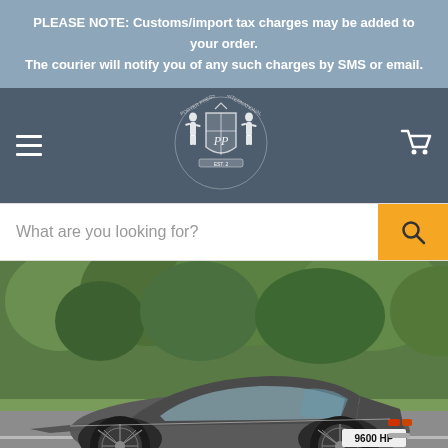PLEASE NOTE: Customs/import tax charges may be added to your order. The courier will notify you of any such charges by SMS or email.
[Figure (logo): Porter Press International heraldic crest logo with two figures flanking a shield, in white on dark blue-grey background]
[Figure (screenshot): Search bar with placeholder text 'What are you looking for?' and orange search button with magnifying glass icon]
[Figure (photo): Classic Jaguar E-Type coupe in grey/silver, rear three-quarter view, driving on a road with trees in background. License plate reads 9600 HP.]